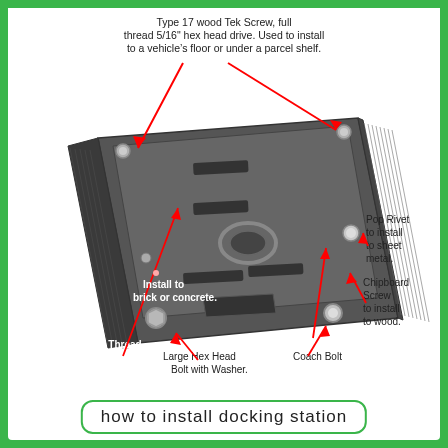[Figure (engineering-diagram): Annotated diagram of a docking station mounting bracket (black metal tray) shown in perspective view, with red arrows pointing to various hardware components: Type 17 wood Tek Screw (full thread 5/16" hex head drive, used to install to vehicle floor or under parcel shelf), Metal Thread Screws, Pop Rivet (to install to sheet metal), Chipboard Screw (to install to wood), Hex Head Bolt, Install to brick or concrete (anchor points), Large Hex Head Bolt with Washer, Coach Bolt.]
how to install docking station